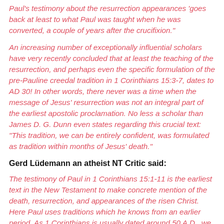Paul's testimony about the resurrection appearances 'goes back at least to what Paul was taught when he was converted, a couple of years after the crucifixion.'
An increasing number of exceptionally influential scholars have very recently concluded that at least the teaching of the resurrection, and perhaps even the specific formulation of the pre-Pauline creedal tradition in 1 Corinthians 15:3-7, dates to AD 30! In other words, there never was a time when the message of Jesus' resurrection was not an integral part of the earliest apostolic proclamation. No less a scholar than James D. G. Dunn even states regarding this crucial text: “This tradition, we can be entirely confident, was formulated as tradition within months of Jesus’ death.”
Gerd Lüdemann an atheist NT Critic said:
The testimony of Paul in 1 Corinthians 15:1-11 is the earliest text in the New Testament to make concrete mention of the death, resurrection, and appearances of the risen Christ. Here Paul uses traditions which he knows from an earlier period. As 1 Corinthians is usually dated around 50 A.D., we may note, first, that the traditions which he mentions must be